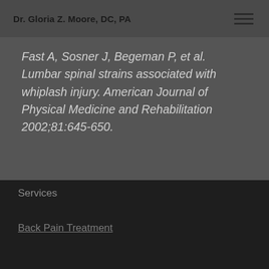Dr. Gloria Z. Moore, DC, PA
Fast A, Sosner J, Begeman P, et al. Lumbar spinal strains associated with whiplash injury. American Journal of Physical Medicine and Rehabilitation 2002;81:645-650.
Services
Back Pain Treatment